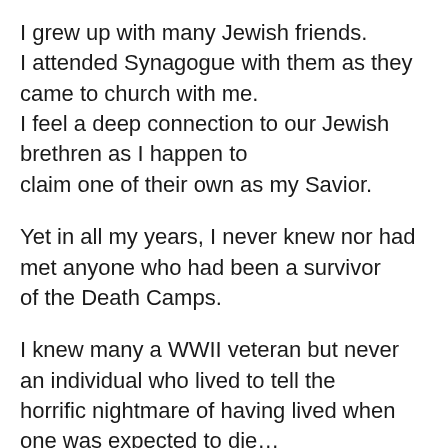I grew up with many Jewish friends. I attended Synagogue with them as they came to church with me. I feel a deep connection to our Jewish brethren as I happen to claim one of their own as my Savior.
Yet in all my years, I never knew nor had met anyone who had been a survivor of the Death Camps.
I knew many a WWII veteran but never an individual who lived to tell the horrific nightmare of having lived when one was expected to die…
I knew Vietnam Veterans and even POWs of that war, but